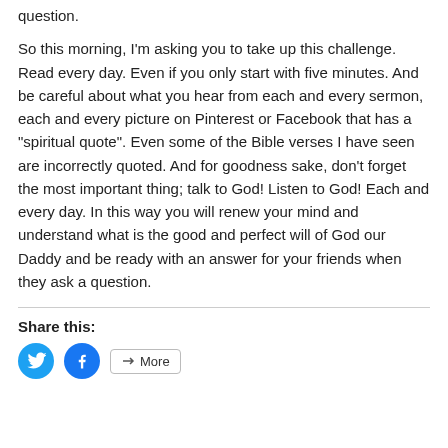question.
So this morning, I’m asking you to take up this challenge.  Read every day.  Even if you only start with five minutes.  And be careful about what you hear from each and every sermon, each and every picture on Pinterest or Facebook that has a “spiritual quote”.  Even some of the Bible verses I have seen are incorrectly quoted. And for goodness sake, don’t forget the most important thing; talk to God!  Listen to God!  Each and every day.  In this way you will renew your mind and understand what is the good and perfect will of God our Daddy and be ready with an answer for your friends when they ask a question.
Share this: